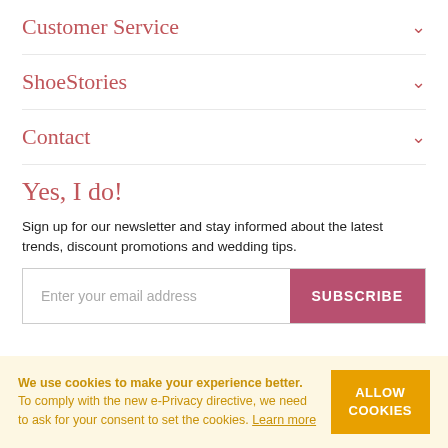Customer Service
ShoeStories
Contact
Yes, I do!
Sign up for our newsletter and stay informed about the latest trends, discount promotions and wedding tips.
Enter your email address SUBSCRIBE
We use cookies to make your experience better. To comply with the new e-Privacy directive, we need to ask for your consent to set the cookies. Learn more ALLOW COOKIES